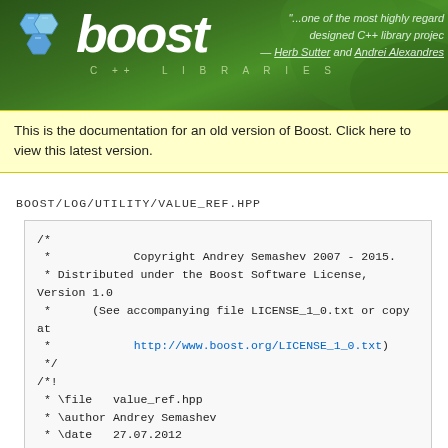[Figure (logo): Boost C++ Libraries logo with hexagonal icon and italic white 'boost' text on dark green background, with a partial quote from Herb Sutter and Andrei Alexandrescu]
This is the documentation for an old version of Boost. Click here to view this latest version.
BOOST/LOG/UTILITY/VALUE_REF.HPP
/*
 *            Copyright Andrey Semashev 2007 - 2015.
 * Distributed under the Boost Software License, Version 1.0.
 *      (See accompanying file LICENSE_1_0.txt or copy at
 *            http://www.boost.org/LICENSE_1_0.txt)
 */
/*!
 * \file   value_ref.hpp
 * \author Andrey Semashev
 * \date   27.07.2012
 *
 * The header contains implementation of a value reference w
 */

#ifndef BOOST_LOG_UTILITY_VALUE_REF_HPP_INCLUDED_
#define BOOST_LOG_UTILITY_VALUE_REF_HPP_INCLUDED_

#include <cstddef>
#include <iosfwd>